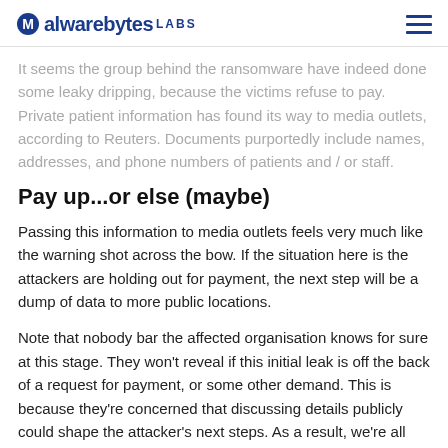Malwarebytes LABS
It seems the group behind the ransomware have indeed done some leaky dripping, because the victims refuse to pay. Private patient information has found its way to media outlets, according to Reuters. Documents purportedly include names, addresses, and phone numbers of patients and / or staff.
Pay up...or else (maybe)
Passing this information to media outlets feels very much like the warning shot across the bow. If the situation here is the attackers are holding out for payment, the next step will be a dump of data to more public locations.
Note that nobody bar the affected organisation knows for sure at this stage. They won't reveal if this initial leak is off the back of a request for payment, or some other demand. This is because they're concerned that discussing details publicly could shape the attacker's next steps. As a result, we're all